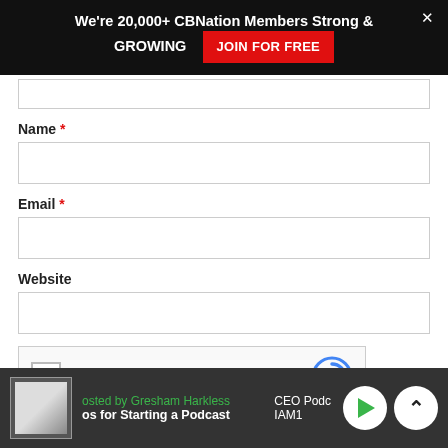We're 20,000+ CBNation Members Strong & GROWING  JOIN FOR FREE
Name *
Email *
Website
[Figure (other): reCAPTCHA widget with checkbox and 'I'm not a robot' label]
Hosted by Gresham Harkless  |  CEO Podc...  IAM1...  |  Tips for Starting a Podcast